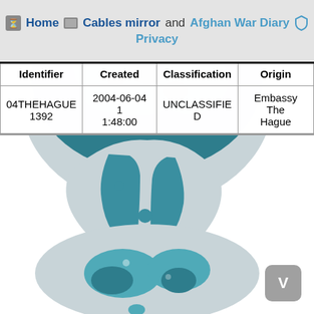Home | Cables mirror and Afghan War Diary | Privacy
| Identifier | Created | Classification | Origin |
| --- | --- | --- | --- |
| 04THEHAGUE 1392 | 2004-06-04 1 1:48:00 | UNCLASSIFIED | Embassy The Hague |
[Figure (illustration): WikiLeaks hourglass logo with globe, teal and grey colors, large background image]